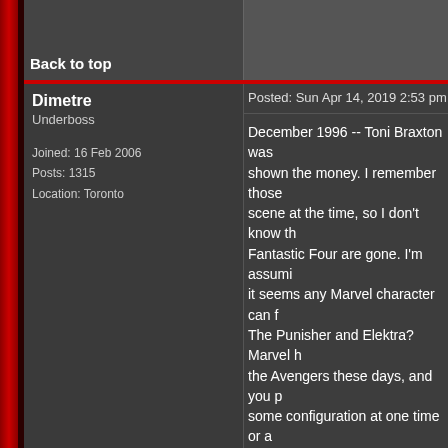Back to top
Posted: Sun Apr 14, 2019 2:53 pm
Dimetre
Underboss

Joined: 16 Feb 2006
Posts: 1315
Location: Toronto
December 1996 -- Toni Braxton was shown the money. I remember those scene at the time, so I don't know th Fantastic Four are gone. I'm assumi it seems any Marvel character can f The Punisher and Elektra? Marvel h the Avengers these days, and you p some configuration at one time or a

I enjoyed this issue. It has a bright a Nord's pencils are crisp, and I like M she's all lit up in the radio booth, an always gave Daredevil a light-hearte who Matt is, and what Daredevil me

So I'm not sure I agree with Mike Mu the dark, but it also shows our hero with a gigantic smile on his face. An as well as some of the listeners.